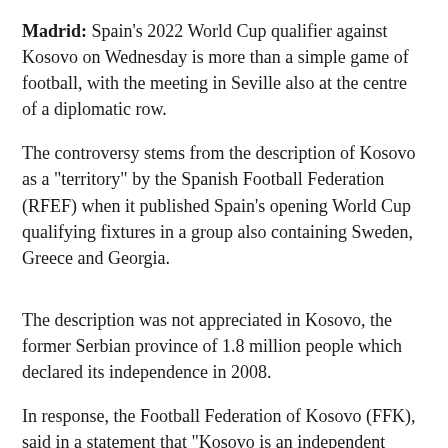Madrid: Spain's 2022 World Cup qualifier against Kosovo on Wednesday is more than a simple game of football, with the meeting in Seville also at the centre of a diplomatic row.
The controversy stems from the description of Kosovo as a "territory" by the Spanish Football Federation (RFEF) when it published Spain's opening World Cup qualifying fixtures in a group also containing Sweden, Greece and Georgia.
The description was not appreciated in Kosovo, the former Serbian province of 1.8 million people which declared its independence in 2008.
In response, the Football Federation of Kosovo (FFK), said in a statement that "Kosovo is an independent state" and threatened not to play the match if it was not allowed to use its national anthem and flag.